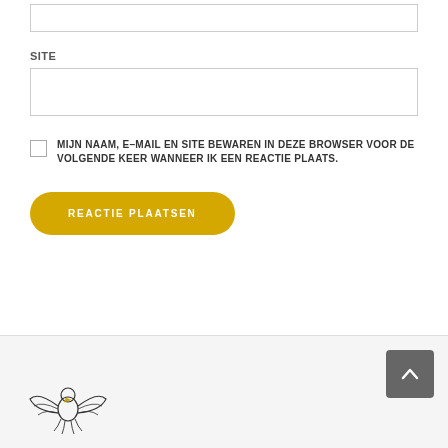[Figure (other): Text input field (top, partially visible)]
SITE
[Figure (other): Text input field for site URL]
MIJN NAAM, E–MAIL EN SITE BEWAREN IN DEZE BROWSER VOOR DE VOLGENDE KEER WANNEER IK EEN REACTIE PLAATS.
[Figure (other): Button labeled REACTIE PLAATSEN with yellow rounded background]
Footer with scroll-to-top button and logo
[Figure (logo): Eagle/bird logo in black and gold at bottom left of footer]